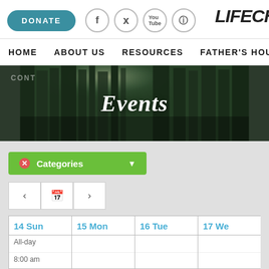DONATE | f | Twitter | YouTube | Instagram | LIFECH
HOME   ABOUT US   RESOURCES   FATHER'S HOUSE
[Figure (photo): Forest/trees hero banner with sunlight, dark overlay, text 'Events' in center, partial 'CONT' label top-left]
Events
Categories (green dropdown button with X icon and arrow)
Navigation arrows: left arrow, calendar icon, right arrow
| 14 Sun | 15 Mon | 16 Tue | 17 We |
| --- | --- | --- | --- |
| All-day |  |  |  |
| 8:00 am |  |  |  |